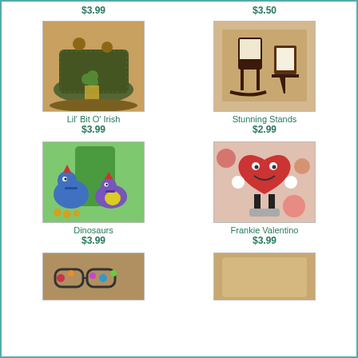$3.99
$3.50
[Figure (photo): Plastic canvas craft item: Lil' Bit O' Irish - decorative container with teddy bears and shamrock motifs]
Lil' Bit O' Irish
$3.99
[Figure (photo): Plastic canvas craft item: Stunning Stands - decorative rocking chair and book stand]
Stunning Stands
$2.99
[Figure (photo): Plastic canvas craft item: Dinosaurs - blue and purple dinosaur coin banks with coins]
Dinosaurs
$3.99
[Figure (photo): Plastic canvas craft item: Frankie Valentino - heart character figure with cupcakes]
Frankie Valentino
$3.99
[Figure (photo): Plastic canvas craft item - partially visible at bottom of page]
[Figure (photo): Plastic canvas craft item - partially visible at bottom right of page]